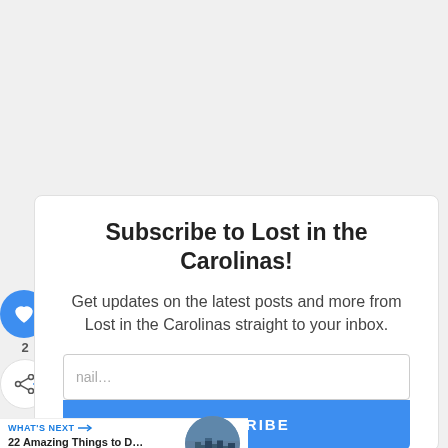Subscribe to Lost in the Carolinas!
Get updates on the latest posts and more from Lost in the Carolinas straight to your inbox.
WHAT'S NEXT → 22 Amazing Things to D...